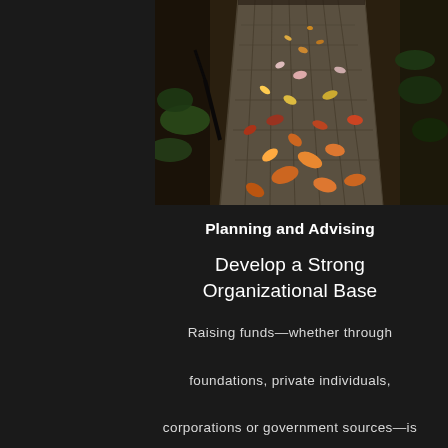[Figure (photo): Overhead photo of a wooden boardwalk or deck covered with fallen autumn leaves in shades of orange, red, yellow, and brown, surrounded by dark forest floor.]
Planning and Advising
Develop a Strong Organizational Base
Raising funds—whether through foundations, private individuals, corporations or government sources—is